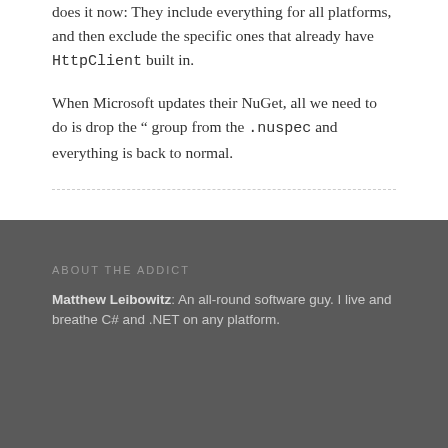does it now: They include everything for all platforms, and then exclude the specific ones that already have HttpClient built in.

When Microsoft updates their NuGet, all we need to do is drop the " group from the .nuspec and everything is back to normal.
ABOUT THE ADDICT
Matthew Leibowitz: An all-round software guy. I live and breathe C# and .NET on any platform.